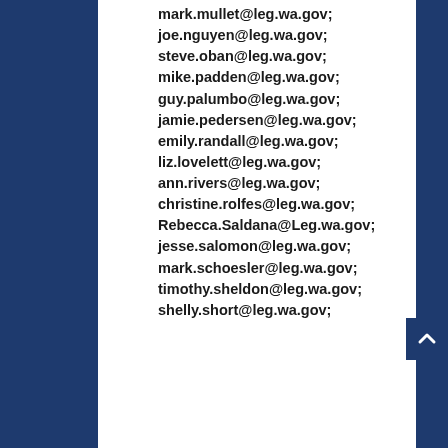mark.mullet@leg.wa.gov; joe.nguyen@leg.wa.gov; steve.oban@leg.wa.gov; mike.padden@leg.wa.gov; guy.palumbo@leg.wa.gov; jamie.pedersen@leg.wa.gov; emily.randall@leg.wa.gov; liz.lovelett@leg.wa.gov; ann.rivers@leg.wa.gov; christine.rolfes@leg.wa.gov; Rebecca.Saldana@Leg.wa.gov; jesse.salomon@leg.wa.gov; mark.schoesler@leg.wa.gov; timothy.sheldon@leg.wa.gov; shelly.short@leg.wa.gov;